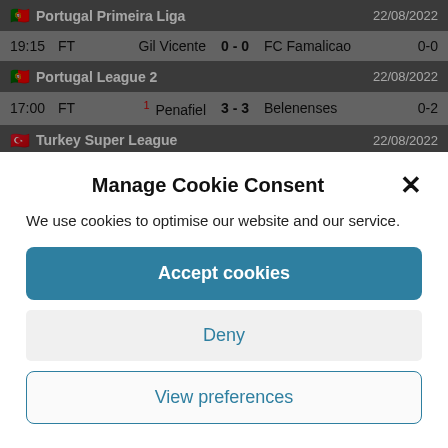| Time | Status | Home | Score | Away | HT |
| --- | --- | --- | --- | --- | --- |
| Portugal Primeira Liga |  |  |  |  | 22/08/2022 |
| 19:15 | FT | Gil Vicente | 0 - 0 | FC Famalicao | 0-0 |
| Portugal League 2 |  |  |  |  | 22/08/2022 |
| 17:00 | FT | 1 Penafiel | 3 - 3 | Belenenses | 0-2 |
| Turkey Super League |  |  |  |  | 22/08/2022 |
| 16:15 | FT | İstanbulspor | 0 - 4 | Konyaspor | 0-2 |
| 16:15 | FT | Sivasspor | 1 - 1 | Alanyaspor | 1-0 |
Manage Cookie Consent
We use cookies to optimise our website and our service.
Accept cookies
Deny
View preferences